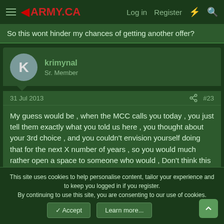ARMY.CA — Log in  Register
So this wont hinder my chances of getting another offer?
krimynal
Sr. Member
31 Jul 2013  #23
My guess would be , when the MCC calls you today , you just tell them exactly what you told us here , you thought about your 3rd choice , and you couldn't envision yourself doing that for the next X number of years , so you would much rather open a space to someone who would , Don't think this is gonna matter ……
This site uses cookies to help personalise content, tailor your experience and to keep you logged in if you register.
By continuing to use this site, you are consenting to our use of cookies.